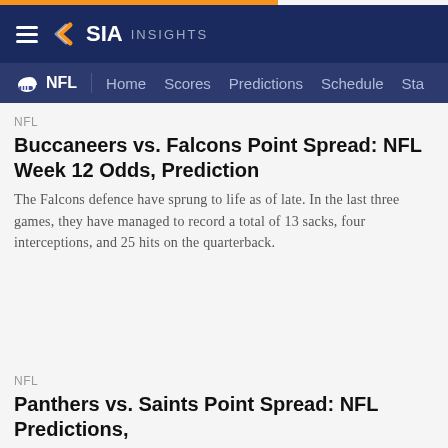SIA INSIGHTS
NFL | Home Scores Predictions Schedule Sta
NFL
Buccaneers vs. Falcons Point Spread: NFL Week 12 Odds, Prediction
The Falcons defence have sprung to life as of late. In the last three games, they have managed to record a total of 13 sacks, four interceptions, and 25 hits on the quarterback.
NFL
Panthers vs. Saints Point Spread: NFL Predictions,